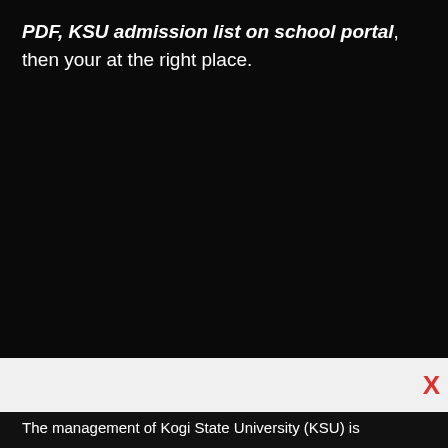PDF, KSU admission list on school portal, then your at the right place.
The management of Kogi State University (KSU) is